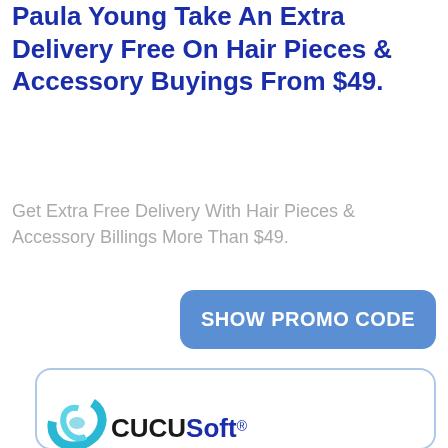Paula Young Take An Extra Delivery Free On Hair Pieces & Accessory Buyings From $49.
Get Extra Free Delivery With Hair Pieces & Accessory Billings More Than $49.
SHOW PROMO CODE
[Figure (logo): CucuSoft logo with teal swirl graphic and bold text reading CucuSoft with registered trademark symbol]